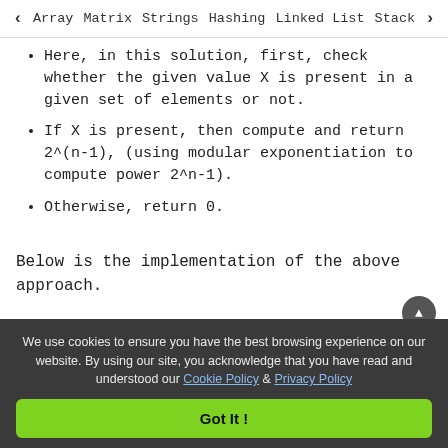< Array   Matrix   Strings   Hashing   Linked List   Stack >
Here, in this solution, first, check whether the given value X is present in a given set of elements or not.
If X is present, then compute and return 2^(n-1), (using modular exponentiation to compute power 2^n-1).
Otherwise, return 0.
Below is the implementation of the above approach.
We use cookies to ensure you have the best browsing experience on our website. By using our site, you acknowledge that you have read and understood our Cookie Policy & Privacy Policy
Got It !